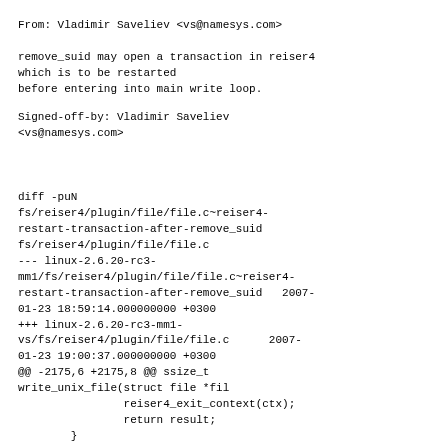From: Vladimir Saveliev <vs@namesys.com>
remove_suid may open a transaction in reiser4
which is to be restarted
before entering into main write loop.
Signed-off-by: Vladimir Saveliev
<vs@namesys.com>
diff -puN
fs/reiser4/plugin/file/file.c~reiser4-
restart-transaction-after-remove_suid
fs/reiser4/plugin/file/file.c
--- linux-2.6.20-rc3-
mm1/fs/reiser4/plugin/file/file.c~reiser4-
restart-transaction-after-remove_suid   2007-
01-23 18:59:14.000000000 +0300
+++ linux-2.6.20-rc3-mm1-
vs/fs/reiser4/plugin/file/file.c      2007-
01-23 19:00:37.000000000 +0300
@@ -2175,6 +2175,8 @@ ssize_t
write_unix_file(struct file *fil
                reiser4_exit_context(ctx);
                return result;
        }